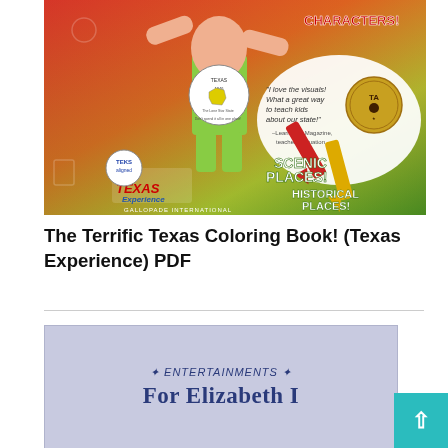[Figure (illustration): Cover of 'The Terrific Texas Coloring Book! (Texas Experience)' by Gallopade International. Features a colorful cartoon character holding a Texas state coin/medallion, with crayons, text reading 'SCENIC PLACES!', 'HISTORICAL PLACES!', 'CHARACTERS!', and a quote from Learning Magazine teacher evaluation: 'I love the visuals! What a great way to teach kids about our state!' The cover has a bright red, green, yellow and orange color scheme.]
The Terrific Texas Coloring Book! (Texas Experience) PDF
[Figure (illustration): Book cover preview with lavender/purple background showing text '✦ ENTERTAINMENTS ✦' and 'For Elizabeth I' in dark navy blue serif font.]